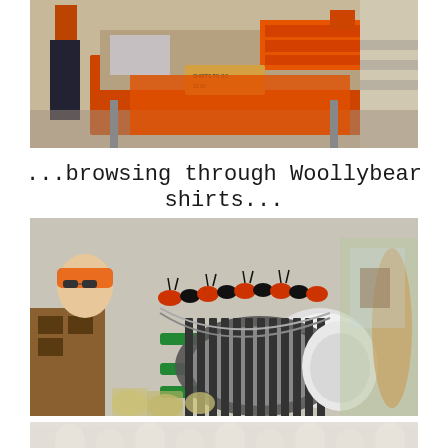[Figure (photo): Outdoor market stall with orange t-shirts displayed on a table, people browsing merchandise at a Woollybear festival]
...browsing through Woollybear shirts...
[Figure (photo): Close-up of a parade float or display featuring Woollybear caterpillar decorations in orange and black, with corrugated pipe and wooly bear figurines, woman in orange headband visible in background]
[Figure (photo): Crowd scene at the bottom of the page, partially visible]